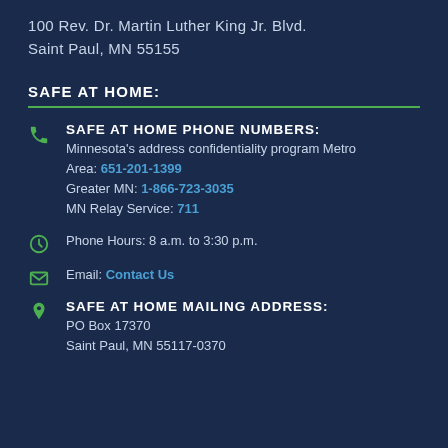100 Rev. Dr. Martin Luther King Jr. Blvd.
Saint Paul, MN 55155
SAFE AT HOME:
SAFE AT HOME PHONE NUMBERS:
Minnesota's address confidentiality program Metro Area: 651-201-1399
Greater MN: 1-866-723-3035
MN Relay Service: 711
Phone Hours: 8 a.m. to 3:30 p.m.
Email: Contact Us
SAFE AT HOME MAILING ADDRESS:
PO Box 17370
Saint Paul, MN 55117-0370